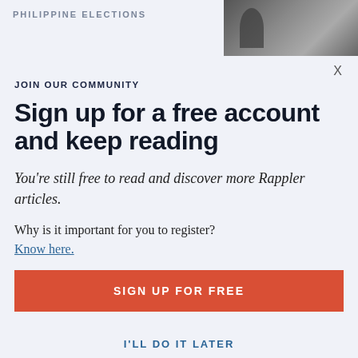PHILIPPINE ELECTIONS
[Figure (photo): A person photographed through a metal gate, with cameras visible, news-style image]
X
JOIN OUR COMMUNITY
Sign up for a free account and keep reading
You're still free to read and discover more Rappler articles.
Why is it important for you to register?
Know here.
SIGN UP FOR FREE
I'LL DO IT LATER